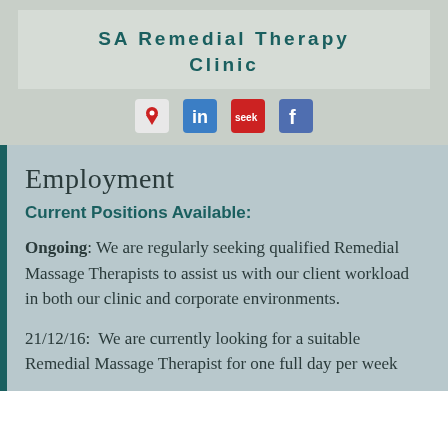SA Remedial Therapy Clinic
[Figure (logo): Social media icons: map pin, LinkedIn, Seek (red), Facebook]
Employment
Current Positions Available:
Ongoing: We are regularly seeking qualified Remedial Massage Therapists to assist us with our client workload in both our clinic and corporate environments.
21/12/16:  We are currently looking for a suitable Remedial Massage Therapist for one full day per week